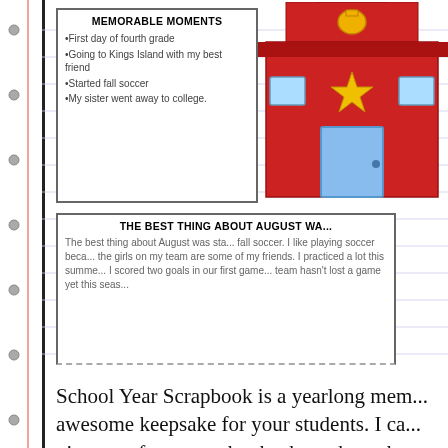[Figure (illustration): Schoolhouse clipart illustration — red building with bell tower, yellow bell, yellow star, and light blue door]
MEMORABLE MOMENTS
First day of fourth grade
Going to Kings Island with my best friend
Started fall soccer
My sister went away to college.
THE BEST THING ABOUT AUGUST WA...
The best thing about August was starting fall soccer. I like playing soccer because the girls on my team are some of my friends. I practiced a lot this summer. I scored two goals in our first game. Our team hasn't lost a game yet this seas...
School Year Scrapbook is a yearlong memorable awesome keepsake for your students. I can pictures of our scrapbooks throughout the...